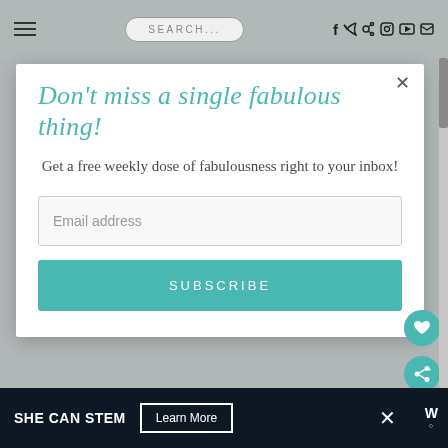≡   SEARCH...   f  y  p  ☷  ▶  ✉
Don't miss a single fabulous thing!
Get a free weekly dose of fabulousness right to your inbox!
Email address
SUBSCRIBE
SHE CAN STEM   Learn More